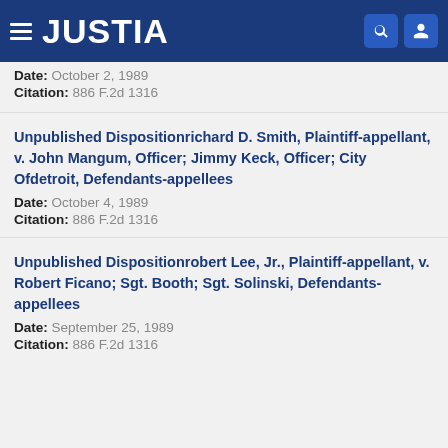JUSTIA
Date: October 2, 1989
Citation: 886 F.2d 1316
Unpublished Dispositionrichard D. Smith, Plaintiff-appellant, v. John Mangum, Officer; Jimmy Keck, Officer; City Ofdetroit, Defendants-appellees
Date: October 4, 1989
Citation: 886 F.2d 1316
Unpublished Dispositionrobert Lee, Jr., Plaintiff-appellant, v. Robert Ficano; Sgt. Booth; Sgt. Solinski, Defendants-appellees
Date: September 25, 1989
Citation: 886 F.2d 1316